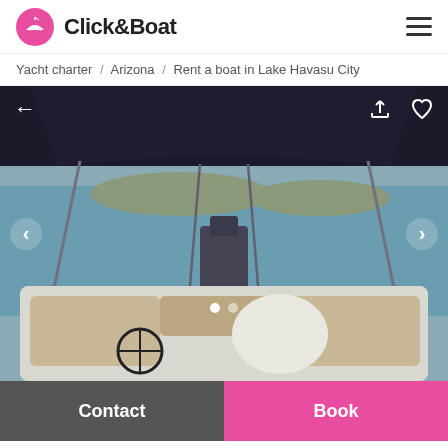Click&Boat
Yacht charter / Arizona / Rent a boat in Lake Havasu City
[Figure (photo): View from inside a boat with a bimini top, showing the back deck with beige seating, a steering wheel, white helm table, and calm blue-green water in the background with hills and a sailboat mast visible.]
Contact
Book